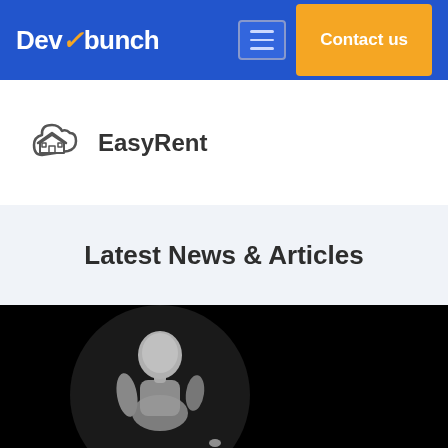DevBunch — Contact us
[Figure (logo): EasyRent logo — cloud with house icon and text EasyRent]
Latest News & Articles
[Figure (photo): Black and white photo of a mannequin or robot figure against a black background]